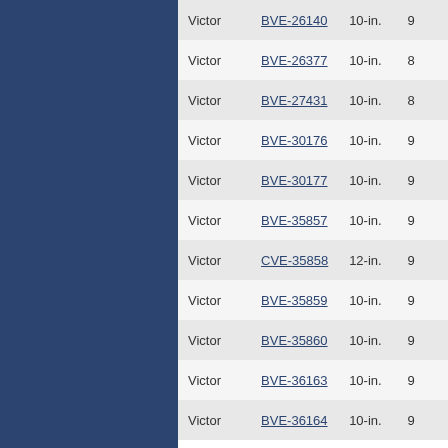| Manufacturer | Model | Size |  |
| --- | --- | --- | --- |
| Victor | BVE-26140 | 10-in. | 9 |
| Victor | BVE-26377 | 10-in. | 8 |
| Victor | BVE-27431 | 10-in. | 8 |
| Victor | BVE-30176 | 10-in. | 9 |
| Victor | BVE-30177 | 10-in. | 9 |
| Victor | BVE-35857 | 10-in. | 9 |
| Victor | CVE-35858 | 12-in. | 9 |
| Victor | BVE-35859 | 10-in. | 9 |
| Victor | BVE-35860 | 10-in. | 9 |
| Victor | BVE-36163 | 10-in. | 9 |
| Victor | BVE-36164 | 10-in. | 9 |